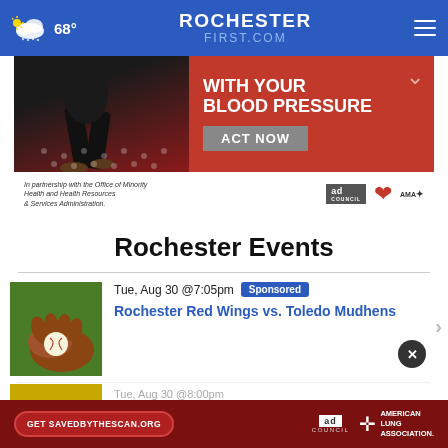68° ROCHESTER FIRST.COM
[Figure (illustration): Blood pressure awareness advertisement banner with text 'WITH YOUR BLOOD PRESSURE' and 'ACT NOW' button. In partnership with the Office of Minority Health and Health Resources & Services Administration. Logos: ad council, American Heart Association, AMA.]
Rochester Events
Tue, Aug 30 @7:05pm  Sponsored
Rochester Red Wings vs. Toledo Mudhens
[Figure (photo): Baseball glove with baseball on green grass]
Tue, Aug 30 @8:00pm
[Figure (photo): Event thumbnail image (partial, gold/yellow tones)]
[Figure (illustration): Bottom advertisement: 'Get SAVEDBYTHESCAN.ORG' button, Ad Council logo, American Lung Association logo]